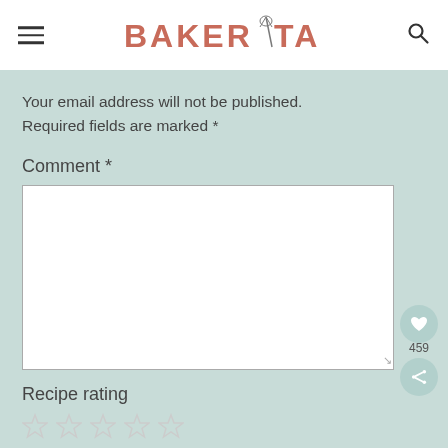BAKERITA
Your email address will not be published. Required fields are marked *
Comment *
Recipe rating